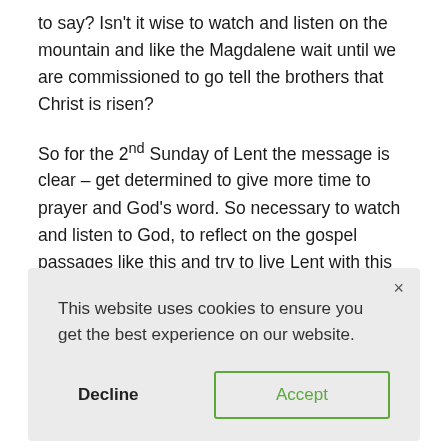to say? Isn't it wise to watch and listen on the mountain and like the Magdalene wait until we are commissioned to go tell the brothers that Christ is risen?
So for the 2nd Sunday of Lent the message is clear – get determined to give more time to prayer and God's word. So necessary to watch and listen to God, to reflect on the gospel passages like this and try to live Lent with this Jesus.
[Figure (screenshot): Cookie consent dialog box with light gray background. Contains close button (×) in top right, text 'This website uses cookies to ensure you get the best experience on our website.', a bold 'Decline' button on the left, and a green-outlined 'Accept' button on the right.]
...